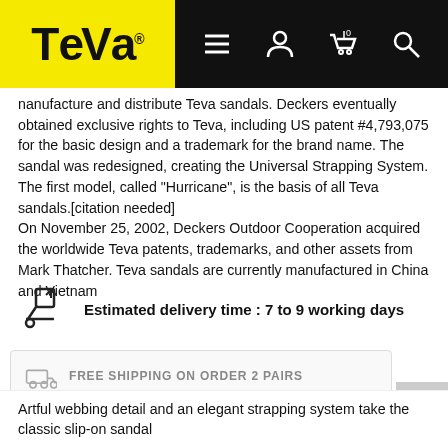[Figure (logo): Teva brand logo on yellow background with black navigation bar containing hamburger menu, user, cart (0), and search icons]
nanufacture and distribute Teva sandals. Deckers eventually obtained exclusive rights to Teva, including US patent #4,793,075 for the basic design and a trademark for the brand name. The sandal was redesigned, creating the Universal Strapping System. The first model, called "Hurricane", is the basis of all Teva sandals.[citation needed]
On November 25, 2002, Deckers Outdoor Cooperation acquired the worldwide Teva patents, trademarks, and other assets from Mark Thatcher. Teva sandals are currently manufactured in China and Vietnam
Estimated delivery time : 7 to 9 working days
FREE SHIPPING ON ORDER 2 PAIRS
30 DAYS RETURN
BEST PRICE GUARANTEE
12 MONTH WARRANTY
100% AUTHENTIC PRODUCTS
Artful webbing detail and an elegant strapping system take the classic slip-on sandal